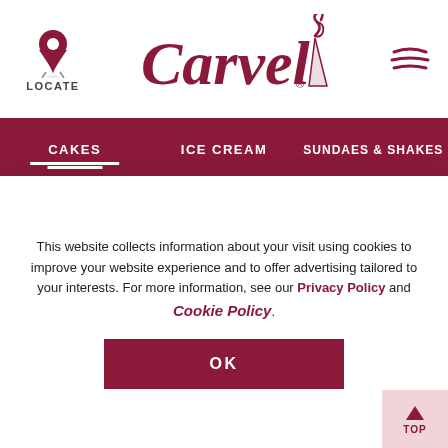[Figure (logo): Carvel ice cream brand logo with stylized script text and ice cream cone icon]
CAKES  ICE CREAM  SUNDAES & SHAKES
| SIZE | SERVES | DIMENSIONS |
| --- | --- | --- |
| SMALL | 4-6 People | 7.5" x 7.5" x 2" |
| MEDIUM | 8-10 People | 7.5" x 6" x 2" |
This website collects information about your visit using cookies to improve your website experience and to offer advertising tailored to your interests. For more information, see our Privacy Policy and Cookie Policy.
OK